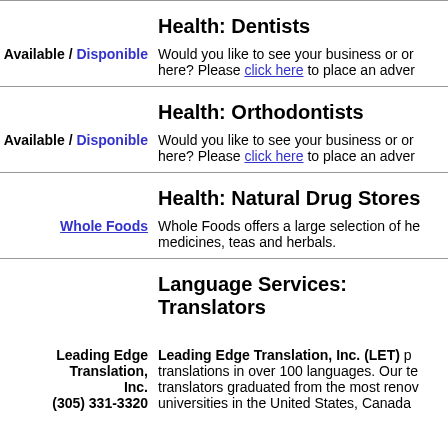Health: Dentists
Available / Disponible
Would you like to see your business or organization listed here? Please click here to place an adver...
Health: Orthodontists
Available / Disponible
Would you like to see your business or organization listed here? Please click here to place an adver...
Health: Natural Drug Stores
Whole Foods
Whole Foods offers a large selection of h... medicines, teas and herbals.
Language Services: Translators
Leading Edge Translation, Inc.
(305) 331-3320
Leading Edge Translation, Inc. (LET) p... translations in over 100 languages. Our te... translators graduated from the most renov... universities in the United States, Canada...